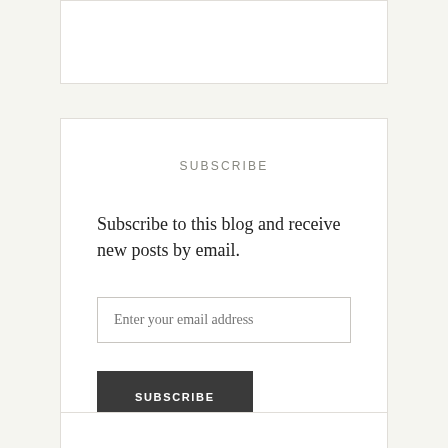[Figure (other): Top widget card, partially visible at top of page, white background with border]
SUBSCRIBE
Subscribe to this blog and receive new posts by email.
[Figure (other): Email input field with placeholder text 'Enter your email address']
[Figure (other): Dark gray Subscribe button with white uppercase text 'SUBSCRIBE']
[Figure (other): Bottom widget card, partially visible at bottom of page, white background with border]